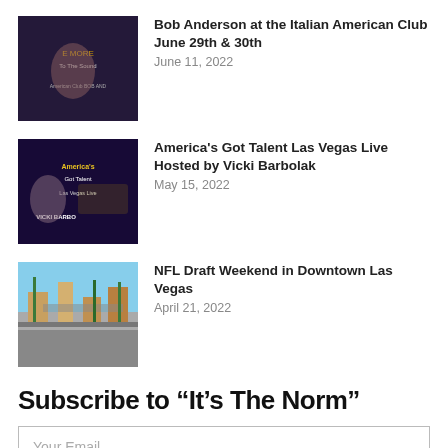[Figure (photo): Bob Anderson event poster at Italian American Club, dark background with performer]
Bob Anderson at the Italian American Club June 29th & 30th
June 11, 2022
[Figure (photo): America's Got Talent Las Vegas Live show poster featuring Vicki Barbolak]
America's Got Talent Las Vegas Live Hosted by Vicki Barbolak
May 15, 2022
[Figure (photo): Downtown Las Vegas street scene with blue sky and palm trees]
NFL Draft Weekend in Downtown Las Vegas
April 21, 2022
Subscribe to “It’s The Norm”
Your Email
Sign Up
[Figure (photo): Partial bottom image showing old map or historic document with 'WEST INDIES' text]